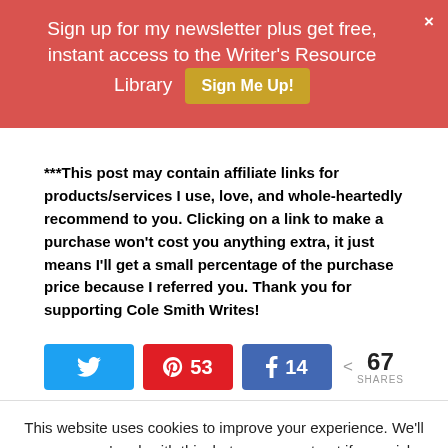Sign up for my newsletter plus get free, instant access to the Writer's Resource Library  Sign Me Up!
***This post may contain affiliate links for products/services I use, love, and whole-heartedly recommend to you. Clicking on a link to make a purchase won't cost you anything extra, it just means I'll get a small percentage of the purchase price because I referred you. Thank you for supporting Cole Smith Writes!
[Figure (infographic): Social share buttons row: Twitter (blue), Pinterest (red, 53), Facebook (blue, 14), total 67 SHARES]
This website uses cookies to improve your experience. We'll assume you're ok with this, but you can opt-out if you wish.